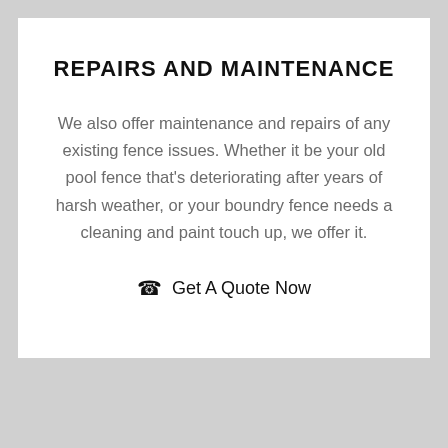REPAIRS AND MAINTENANCE
We also offer maintenance and repairs of any existing fence issues. Whether it be your old pool fence that's deteriorating after years of harsh weather, or your boundry fence needs a cleaning and paint touch up, we offer it.
Get A Quote Now